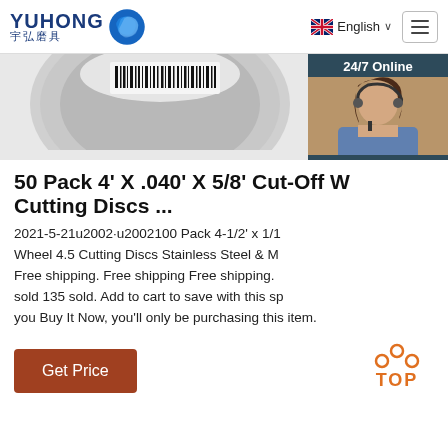[Figure (logo): YUHONG 宇弘磨具 logo with blue wave sphere icon]
English ∨
[Figure (photo): Partial view of a gray cutting disc with barcode label, and a customer service representative with headset overlay on right side showing 24/7 Online, Click here for free chat!, and QUOTATION button]
50 Pack 4' X .040' X 5/8' Cut-Off W Cutting Discs ...
2021-5-21u2002·u2002100 Pack 4-1/2' x 1/1 Wheel 4.5 Cutting Discs Stainless Steel & M Free shipping. Free shipping Free shipping. sold 135 sold. Add to cart to save with this sp you Buy It Now, you'll only be purchasing this item.
Get Price